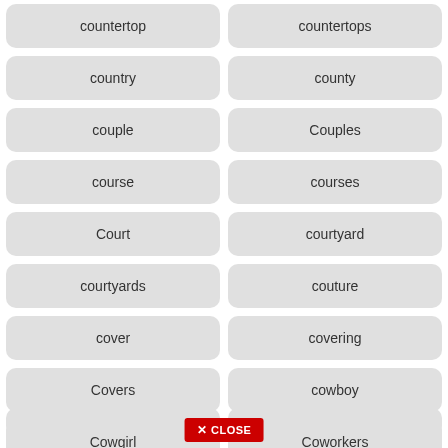countertop
countertops
country
county
couple
Couples
course
courses
Court
courtyard
courtyards
couture
cover
covering
Covers
cowboy
Cowgirl
Coworkers
CLOSE